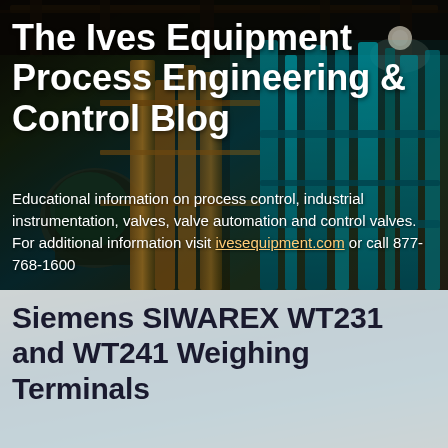[Figure (photo): Industrial plant interior with green-lit pipes, machinery, and structural steel overhead. Dark upper area transitioning to teal/orange industrial equipment.]
The Ives Equipment Process Engineering & Control Blog
Educational information on process control, industrial instrumentation, valves, valve automation and control valves. For additional information visit ivesequipment.com or call 877-768-1600
Siemens SIWAREX WT231 and WT241 Weighing Terminals